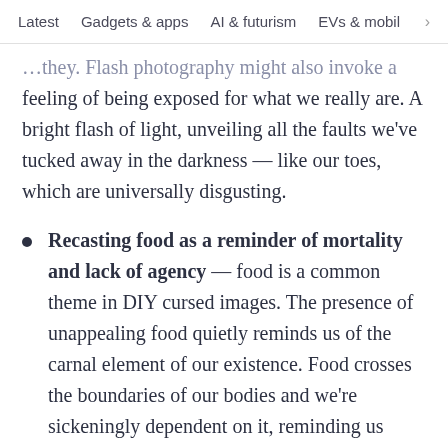Latest   Gadgets & apps   AI & futurism   EVs & mobil >
…they. Flash photography might also invoke a feeling of being exposed for what we really are. A bright flash of light, unveiling all the faults we've tucked away in the darkness — like our toes, which are universally disgusting.
Recasting food as a reminder of mortality and lack of agency — food is a common theme in DIY cursed images. The presence of unappealing food quietly reminds us of the carnal element of our existence. Food crosses the boundaries of our bodies and we're sickeningly dependent on it, reminding us we're never fully in control of our surroundings or an independent force in this world. It also shines a light on how ashamed we …